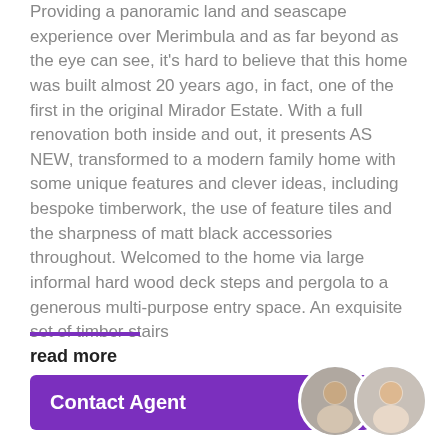Providing a panoramic land and seascape experience over Merimbula and as far beyond as the eye can see, it's hard to believe that this home was built almost 20 years ago, in fact, one of the first in the original Mirador Estate. With a full renovation both inside and out, it presents AS NEW, transformed to a modern family home with some unique features and clever ideas, including bespoke timberwork, the use of feature tiles and the sharpness of matt black accessories throughout. Welcomed to the home via large informal hard wood deck steps and pergola to a generous multi-purpose entry space. An exquisite set of timber stairs
read more
Contact Agent
[Figure (photo): Two circular agent profile photos overlapping, showing a man and a woman]